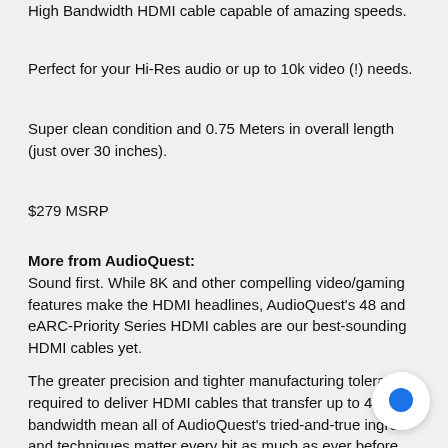High Bandwidth HDMI cable capable of amazing speeds.
Perfect for your Hi-Res audio or up to 10k video (!) needs.
Super clean condition and 0.75 Meters in overall length (just over 30 inches).
$279 MSRP
More from AudioQuest: Sound first. While 8K and other compelling video/gaming features make the HDMI headlines, AudioQuest's 48 and eARC-Priority Series HDMI cables are our best-sounding HDMI cables yet.
The greater precision and tighter manufacturing tolerances required to deliver HDMI cables that transfer up to 48Gbps bandwidth mean all of AudioQuest's tried-and-true ingredients and techniques matter every bit as much as ever before.